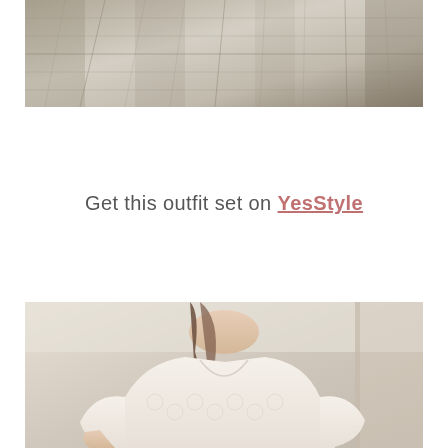[Figure (photo): Close-up of a plaid/checkered skirt fabric in grey and beige tones, showing the flowing pleated fabric of the skirt.]
Get this outfit set on YesStyle
[Figure (photo): A woman wearing a white lace v-neck top with floral eyelet embroidery and puff sleeves, photographed in what appears to be a kitchen or indoor setting.]